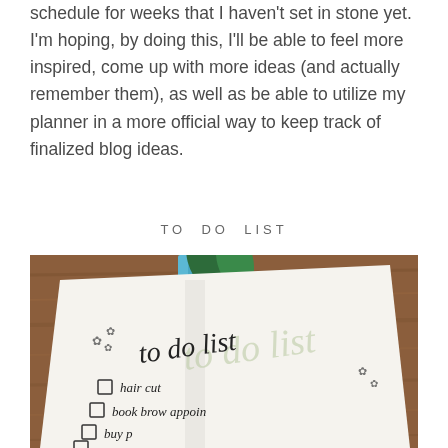schedule for weeks that I haven't set in stone yet. I'm hoping, by doing this, I'll be able to feel more inspired, come up with more ideas (and actually remember them), as well as be able to utilize my planner in a more official way to keep track of finalized blog ideas.
TO DO LIST
[Figure (photo): A bullet journal open to a 'to do list' page with handwritten script title 'to do list' in cursive with a light green watercolor shadow behind it. Small checkbox squares are drawn with items: hair cut, book brow appoi(ntment), buy p(lanner). Small decorative flower doodles near the top. The journal is lying on a wooden table with a blue pen/bookmark and a plant leaf visible at the top.]